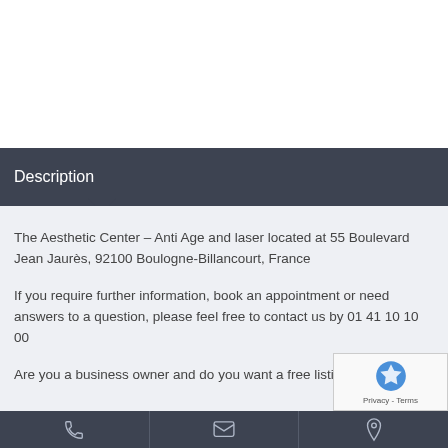Description
The Aesthetic Center – Anti Age and laser located at 55 Boulevard Jean Jaurès, 92100 Boulogne-Billancourt, France
If you require further information, book an appointment or need answers to a question, please feel free to contact us by 01 41 10 10 00
Are you a business owner and do you want a free listing
[Figure (other): Bottom navigation bar with phone, email, and location icons]